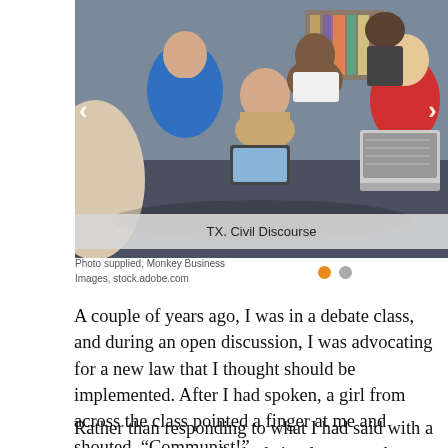[Figure (photo): Group of students sitting in a circle on a classroom floor, using tablets and laptops, engaged in discussion.]
TX. Civil Discourse
Photo supplied, Monkey Business Images, stock.adobe.com
A couple of years ago, I was in a debate class, and during an open discussion, I was advocating for a new law that I thought should be implemented. After I had spoken, a girl from across the class pointed a finger at me and shouted, “Communist!”
Rather than responding to what I had said with a counter argument, she had simply resorted to name-calling.